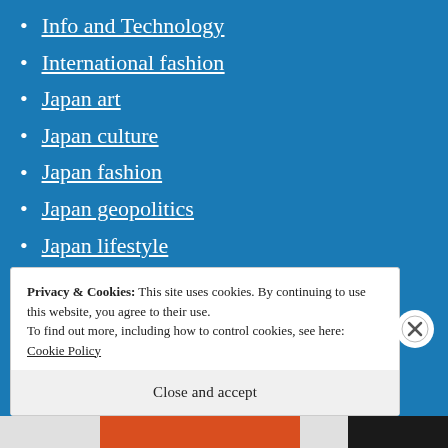Info and Technology
International fashion
Japan art
Japan culture
Japan fashion
Japan geopolitics
Japan lifestyle
Japan news
Japan Tourism
Japanese Animation
Kansai news
Privacy & Cookies: This site uses cookies. By continuing to use this website, you agree to their use.
To find out more, including how to control cookies, see here: Cookie Policy
Close and accept